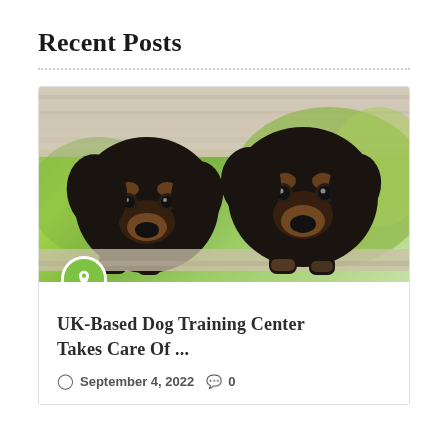Recent Posts
[Figure (photo): Two black and tan Rottweiler puppies peeking over a wooden fence with green bokeh background. A green circle with a pin/pushpin icon overlaid at the bottom-left of the image.]
UK-Based Dog Training Center Takes Care Of ...
September 4, 2022  0